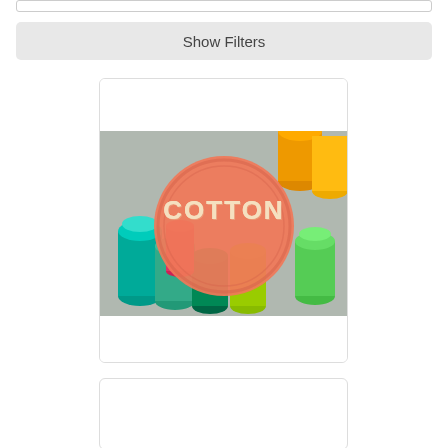Show Filters
[Figure (photo): Product card showing colorful cotton thread spools with an orange circular badge overlay reading COTTON in cream letters]
Cotton Thread
[Figure (photo): Partial product card at the bottom of the page, content not visible]